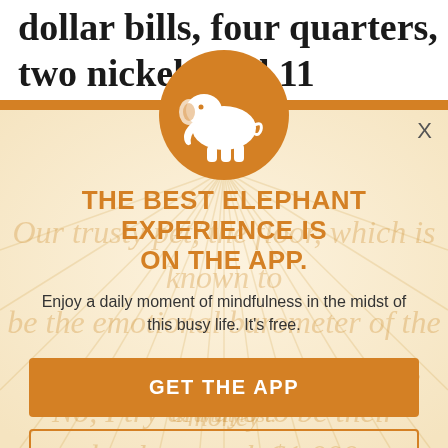dollar bills, four quarters, two nickels and 11 pennies left in your jeans pocket.
[Figure (illustration): App promotion modal overlay with elephant logo in orange circle, title 'THE BEST ELEPHANT EXPERIENCE IS ON THE APP.', subtitle text, and two buttons: 'GET THE APP' and 'OPEN IN APP']
THE BEST ELEPHANT EXPERIENCE IS ON THE APP.
Enjoy a daily moment of mindfulness in the midst of this busy life. It's free.
GET THE APP
OPEN IN APP